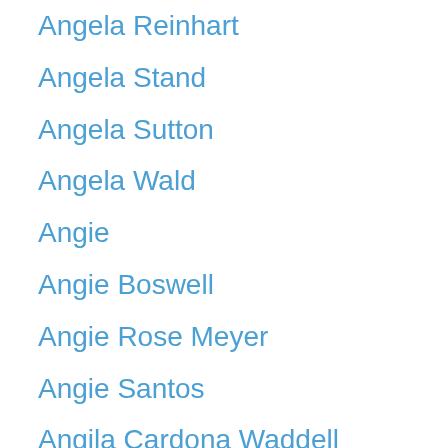Angela Reinhart
Angela Stand
Angela Sutton
Angela Wald
Angie
Angie Boswell
Angie Rose Meyer
Angie Santos
Angila Cardona Waddell
Anglia Morgan
Anita
Ankush Vij
Ann
Ann Johnsey
Ann Permin
Ann S.
Anna
Anna
Anna
Anna